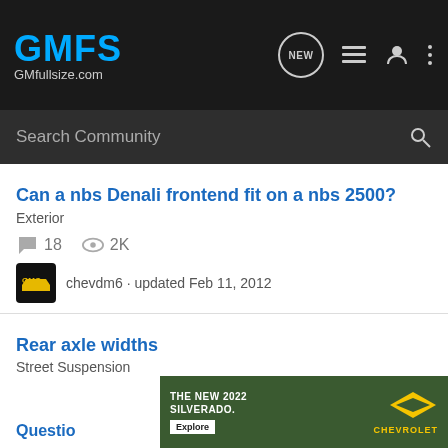GMFS GMfullsize.com
Search Community
Can a nbs Denali frontend fit on a nbs 2500?
Exterior
18 comments · 2K views
chevdm6 · updated Feb 11, 2012
Rear axle widths
Street Suspension
7 comments · 38K views
ontarioss · updated Dec 21, 2011
[Figure (screenshot): Advertisement for The New 2022 Silverado by Chevrolet with Explore button]
Questio...